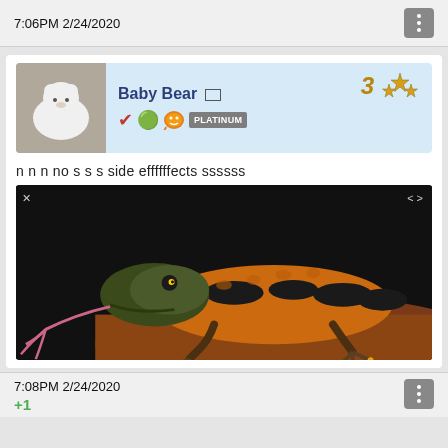7:06PM 2/24/2020
[Figure (screenshot): Baby Bear profile banner with polar bear cub photo, username 'Baby Bear', checkmark, smiley, chat bubble icons, number 3 with stars, and PLATINUM badge on light blue background]
n n n no s s s side effffffects ssssss
[Figure (photo): Close-up photo of a Gila monster lizard with orange and black patterned scales, sticking out its forked tongue, resting on a reddish-brown rock against a dark background]
7:08PM 2/24/2020
+1